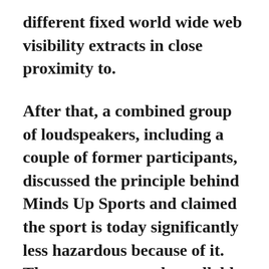different fixed world wide web visibility extracts in close proximity to.
After that, a combined group of loudspeakers, including a couple of former participants, discussed the principle behind Minds Up Sports and claimed the sport is today significantly less hazardous because of it. The presenters made avallable just simply sufficiently normal overall health and safe practices facts to turn out to be ready to fight that the establishments present a